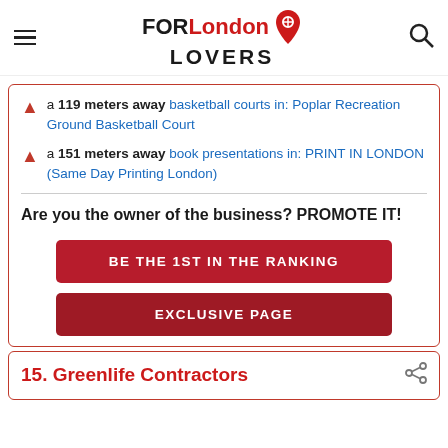FORLondon LOVERS
a 119 meters away basketball courts in: Poplar Recreation Ground Basketball Court
a 151 meters away book presentations in: PRINT IN LONDON (Same Day Printing London)
Are you the owner of the business? PROMOTE IT!
BE THE 1ST IN THE RANKING
EXCLUSIVE PAGE
15. Greenlife Contractors